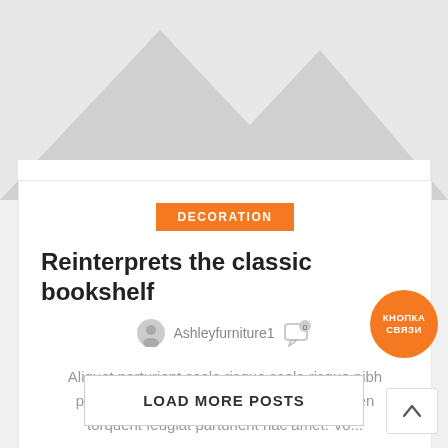[Figure (illustration): Placeholder image with grey mountain/triangle shapes on light grey background]
DECORATION
Reinterprets the classic bookshelf
Ashleyfurniture1  [comment icon with 0]
Aliquet parturient scele risque scele risque nibh pretium parturient suspendisse platea sapien torquent feugiat parturient hac amet. Vo...
CONTINUE READING
LOAD MORE POSTS
КНОПКА СВЯЗИ